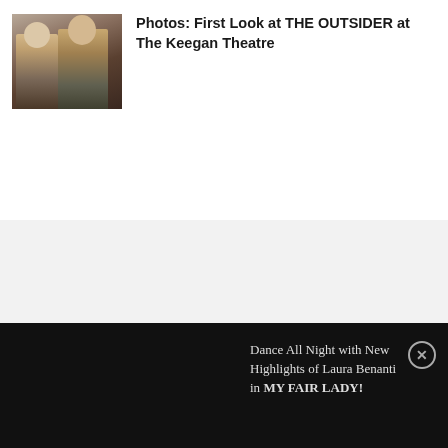[Figure (photo): Thumbnail photo of two men in suits sitting together on stage, from the play THE OUTSIDER at The Keegan Theatre]
Photos: First Look at THE OUTSIDER at The Keegan Theatre
Dance All Night with New Highlights of Laura Benanti in MY FAIR LADY!